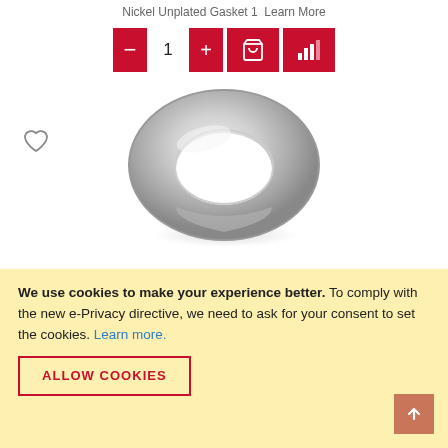Nickel Unplated Gasket 1  Learn More
[Figure (screenshot): Quantity selector with minus, 1, plus buttons in red/white, add to cart icon button, and bar chart icon button, all in red]
[Figure (photo): Silver metallic washer/gasket ring viewed at an angle, showing a ring-shaped flat gasket with shiny chrome finish]
We use cookies to make your experience better. To comply with the new e-Privacy directive, we need to ask for your consent to set the cookies. Learn more.
ALLOW COOKIES